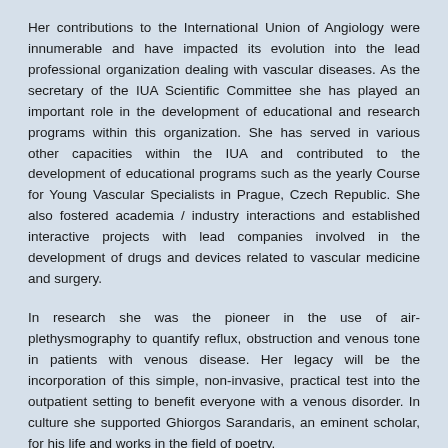Her contributions to the International Union of Angiology were innumerable and have impacted its evolution into the lead professional organization dealing with vascular diseases. As the secretary of the IUA Scientific Committee she has played an important role in the development of educational and research programs within this organization. She has served in various other capacities within the IUA and contributed to the development of educational programs such as the yearly Course for Young Vascular Specialists in Prague, Czech Republic. She also fostered academia / industry interactions and established interactive projects with lead companies involved in the development of drugs and devices related to vascular medicine and surgery.
In research she was the pioneer in the use of air-plethysmography to quantify reflux, obstruction and venous tone in patients with venous disease. Her legacy will be the incorporation of this simple, non-invasive, practical test into the outpatient setting to benefit everyone with a venous disorder. In culture she supported Ghiorgos Sarandaris, an eminent scholar, for his life and works in the field of poetry.
Trik, she started...